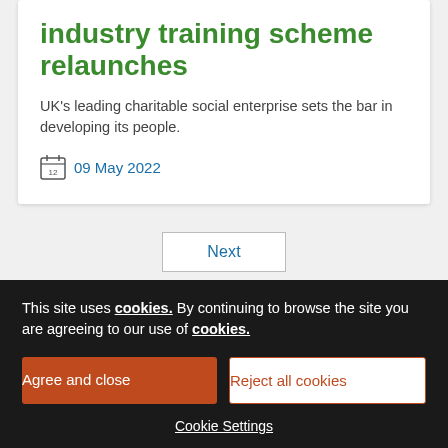industry training scheme relaunches
UK's leading charitable social enterprise sets the bar in developing its people.
09 May 2022
Next
This site uses cookies. By continuing to browse the site you are agreeing to our use of cookies.
Agree and close
Reject all cookies
Cookie Settings